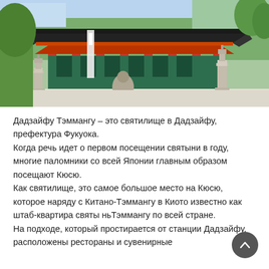[Figure (photo): A Japanese Shinto shrine with red pillars and traditional architecture. Stone lanterns and guardian statues are visible in the foreground. Green trees in the background.]
Дадзайфу Тэммангу – это святилище в Дадзайфу, префектура Фукуока.
Когда речь идет о первом посещении святыни в году, многие паломники со всей Японии главным образом посещают Кюсю.
Как святилище, это самое большое место на Кюсю, которое наряду с Китано-Тэммангу в Киото известно как штаб-квартира святы ньТэммангу по всей стране.
На подходе, который простирается от станции Дадзайфу, расположены рестораны и сувенирные